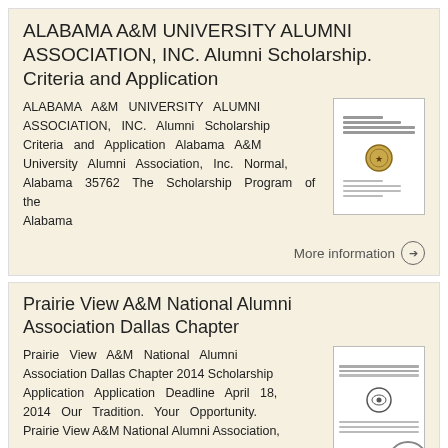ALABAMA A&M UNIVERSITY ALUMNI ASSOCIATION, INC. Alumni Scholarship. Criteria and Application
ALABAMA A&M UNIVERSITY ALUMNI ASSOCIATION, INC. Alumni Scholarship Criteria and Application Alabama A&M University Alumni Association, Inc. Normal, Alabama 35762 The Scholarship Program of the Alabama
[Figure (other): Thumbnail image of Alabama A&M University Alumni Association scholarship document cover page]
More information →
Prairie View A&M National Alumni Association Dallas Chapter
Prairie View A&M National Alumni Association Dallas Chapter 2014 Scholarship Application Application Deadline April 18, 2014 Our Tradition. Your Opportunity. Prairie View A&M National Alumni Association,
[Figure (other): Thumbnail image of Prairie View A&M National Alumni Association Dallas Chapter scholarship document cover page]